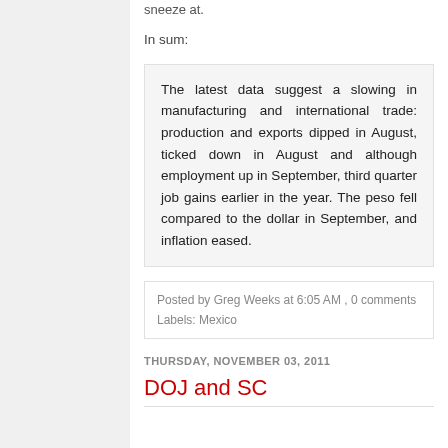sneeze at.
In sum:
The latest data suggest a slowing in manufacturing and international trade: production and exports dipped in August, ticked down in August and although employment up in September, third quarter job gains earlier in the year. The peso fell compared to the dollar in September, and inflation eased.
Posted by Greg Weeks at 6:05 AM , 0 comments
Labels: Mexico
THURSDAY, NOVEMBER 03, 2011
DOJ and SC